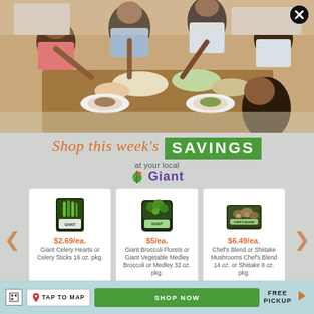[Figure (photo): Family gathered around a dining table sharing a meal, multi-generational group smiling and eating together]
Shop this week's SAVINGS at your local Giant
[Figure (photo): Product card: Giant Celery Hearts or Celery Sticks bag, $2.69/ea.]
[Figure (photo): Product card: Giant Broccoli Florets or Giant Vegetable Medley Broccoli or Medley 32 oz. pkg., $5/ea.]
[Figure (photo): Product card: Chef's Blend or Shiitake Mushrooms Chef's Blend 14 oz. or Shiitake 8 oz. pkg., $6.49/ea.]
TAP TO MAP
SHOP NOW
FREE PICKUP